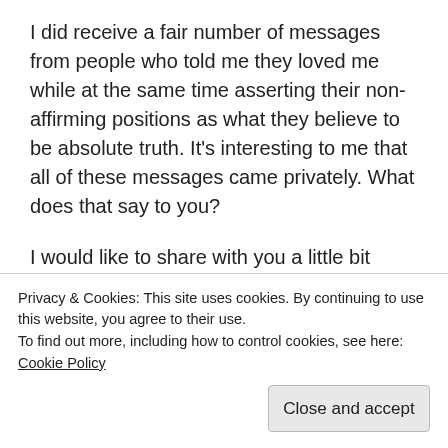I did receive a fair number of messages from people who told me they loved me while at the same time asserting their non-affirming positions as what they believe to be absolute truth. It's interesting to me that all of these messages came privately. What does that say to you?
I would like to share with you a little bit about how receiving these private messages feels – because I know you, dear Christian people who sent them. I've loved you. I used to be you. And I know that you
Privacy & Cookies: This site uses cookies. By continuing to use this website, you agree to their use.
To find out more, including how to control cookies, see here: Cookie Policy
You're trying to, "love the sinner, hate the sin." And